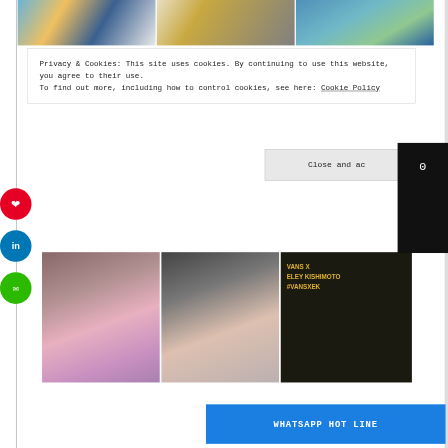[Figure (photo): Top image grid showing three colorful mural/art photos side by side]
Privacy & Cookies: This site uses cookies. By continuing to use this website, you agree to their use.
To find out more, including how to control cookies, see here: Cookie Policy
[Figure (screenshot): Close and accept button (partially cropped) and black counter box with number 0]
[Figure (photo): Red Pinterest share button, blue LinkedIn share button, green email share button on left sidebar]
[Figure (photo): Bottom image grid: woman in bikini photo, group party photo, VANS X ELEY KISHIMOTO #VANSXEK sign photo]
WHATSAPP HOT LINE